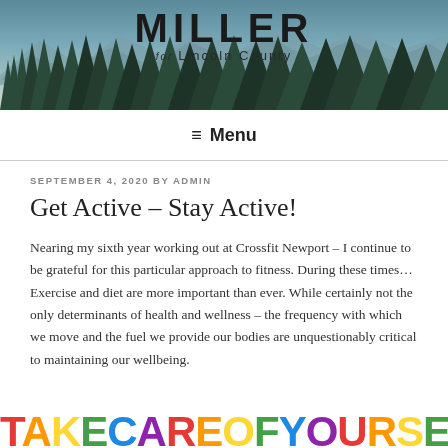[Figure (illustration): Website header banner with forest/mountain background, trees silhouette, showing 'MILLER for Lincoln County' campaign logo]
≡ Menu
SEPTEMBER 4, 2020 BY ADMIN
Get Active – Stay Active!
Nearing my sixth year working out at Crossfit Newport – I continue to be grateful for this particular approach to fitness. During these times… Exercise and diet are more important than ever. While certainly not the only determinants of health and wellness – the frequency with which we move and the fuel we provide our bodies are unquestionably critical to maintaining our wellbeing.
[Figure (illustration): Colorful 'TAKE CARE OF YOURSELF' text in rainbow block letters at bottom of page, partially cropped]